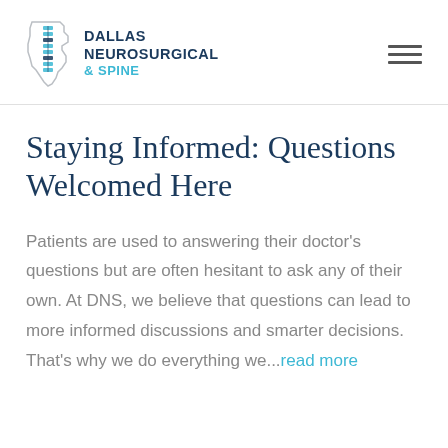[Figure (logo): Dallas Neurosurgical & Spine logo with Texas state outline and spine illustration in blue tones]
Staying Informed: Questions Welcomed Here
Patients are used to answering their doctor's questions but are often hesitant to ask any of their own. At DNS, we believe that questions can lead to more informed discussions and smarter decisions. That's why we do everything we...read more